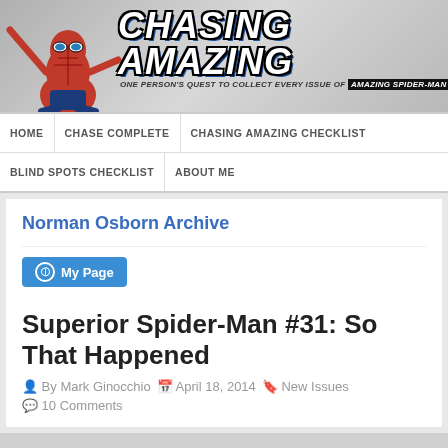[Figure (logo): Chasing Amazing blog header with Spider-Man image, title 'CHASING AMAZING' in stylized font, subtitle 'ONE PERSON'S QUEST TO COLLECT EVERY ISSUE OF AMAZING SPIDER-MAN']
HOME | CHASE COMPLETE | CHASING AMAZING CHECKLIST | BLIND SPOTS CHECKLIST | ABOUT ME
Norman Osborn Archive
My Page
Superior Spider-Man #31: So That Happened
By Mark Ginocchio   April 18, 2014   New Issues
10 Comments